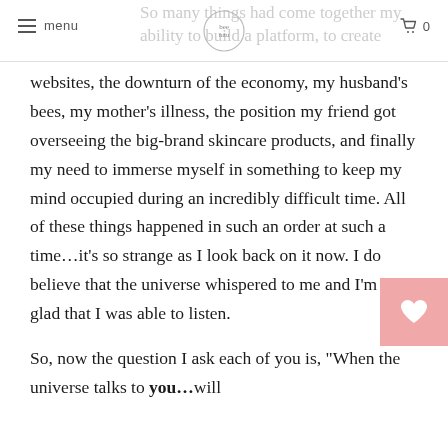menu | [logo] | 0
So many things had come together my ability to build a platform, to create websites, the downturn of the economy, my husband's bees, my mother's illness, the position my friend got overseeing the big-brand skincare products, and finally my need to immerse myself in something to keep my mind occupied during an incredibly difficult time. All of these things happened in such an order at such a time...it's so strange as I look back on it now. I do believe that the universe whispered to me and I'm so glad that I was able to listen.

So, now the question I ask each of you is, "When the universe talks to you...will